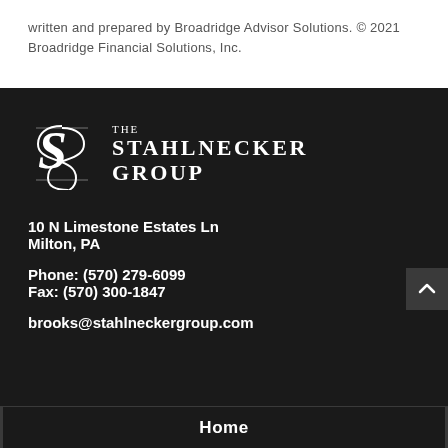written and prepared by Broadridge Advisor Solutions. © 2021 Broadridge Financial Solutions, Inc.
[Figure (logo): The Stahlnecker Group logo — a stylized S emblem on the left and text 'THE STAHLNECKER GROUP' on the right, white on dark background]
10 N Limestone Estates Ln
Milton, PA
Phone: (570) 279-6099
Fax: (570) 300-1847
brooks@stahlneckergroup.com
Home